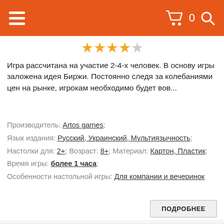≡  🛒 0 🔍
[Figure (other): Star rating: 4 out of 5 stars (4 filled, 1 empty)]
Игра рассчитана на участие 2-4-х человек. В основу игры заложена идея Биржи. Постоянно следя за колебаниями цен на рынке, игрокам необходимо будет вов...
Производитель: Artos games;
Язык издания: Русский, Украинский, Мультиязычность;
Настолки для: 2+; Возраст: 8+; Материал: Картон, Пластик;
Время игры: более 1 часа;
Особенности настольной игры: Для компании и вечеринок
ПОДРОБНЕЕ
[Figure (photo): Purple board game box with cowboy hat logo and text 'De Re...' visible at bottom of page]